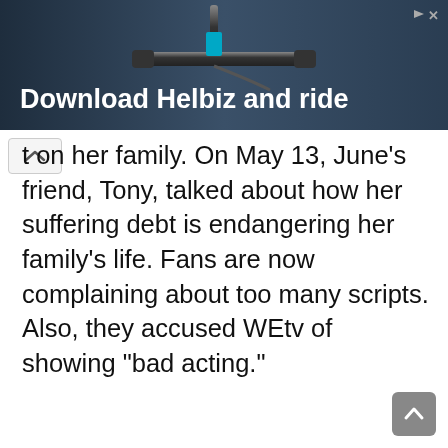[Figure (screenshot): Advertisement banner for Helbiz scooter app showing handlebar of scooter with text 'Download Helbiz and ride' on dark background]
t on her family. On May 13, June's friend, Tony, talked about how her suffering debt is endangering her family's life. Fans are now complaining about too many scripts. Also, they accused WEtv of showing "bad acting."